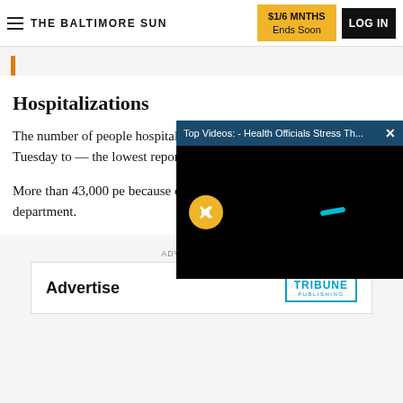THE BALTIMORE SUN | $1/6 MNTHS Ends Soon | LOG IN
Hospitalizations
The number of people hospitalized with COVID-19 fell by six Tuesday to — the lowest reported number of people hospitalized
More than 43,000 people have been hospitalized because of the disease — according to the health department.
[Figure (screenshot): Video overlay popup titled 'Top Videos: - Health Officials Stress Th...' with a black video screen showing a mute button and a small cyan object]
ADVERTISEMENT
[Figure (logo): Advertisement banner showing 'Advertise' text on left and Tribune Publishing logo on right]